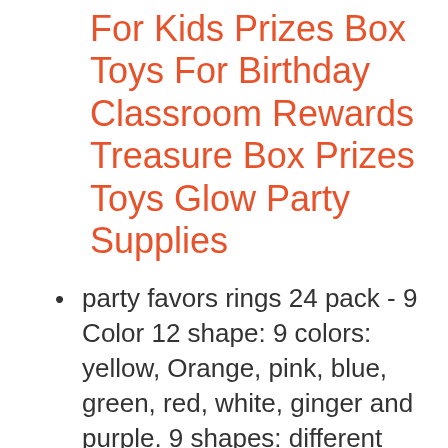For Kids Prizes Box Toys For Birthday Classroom Rewards Treasure Box Prizes Toys Glow Party Supplies
party favors rings 24 pack - 9 Color 12 shape: 9 colors: yellow, Orange, pink, blue, green, red, white, ginger and purple. 9 shapes: different shapes come with bear, Tiger, rabbit, Panda, pig, frog, chick,unicorn, butterfly & heart. Please see the picture for details.